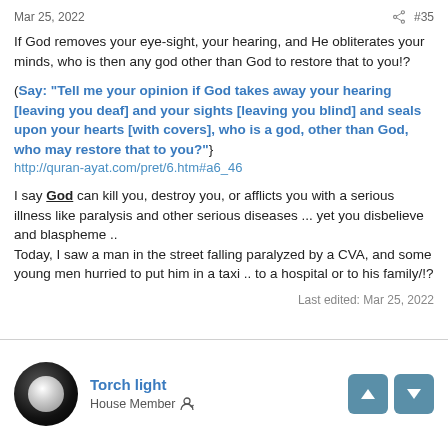Mar 25, 2022  #35
If God removes your eye-sight, your hearing, and He obliterates your minds, who is then any god other than God to restore that to you!?
(Say: "Tell me your opinion if God takes away your hearing [leaving you deaf] and your sights [leaving you blind] and seals upon your hearts [with covers], who is a god, other than God, who may restore that to you?"}
http://quran-ayat.com/pret/6.htm#a6_46
I say God can kill you, destroy you, or afflicts you with a serious illness like paralysis and other serious diseases ... yet you disbelieve and blaspheme ..
Today, I saw a man in the street falling paralyzed by a CVA, and some young men hurried to put him in a taxi .. to a hospital or to his family/!?
Last edited: Mar 25, 2022
Torch light
House Member